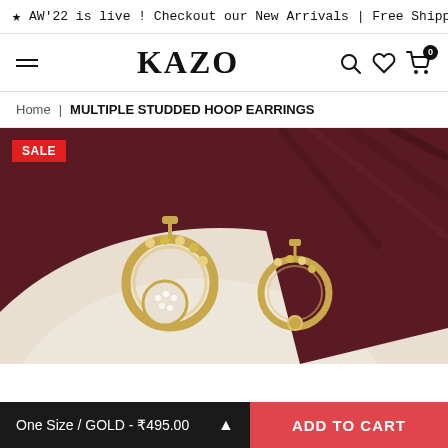★ AW'22 is live ! Checkout our New Arrivals | Free Shipping on A
[Figure (logo): KAZO brand logo with hamburger menu icon on left and search, heart, cart icons on right]
Home | MULTIPLE STUDDED HOOP EARRINGS
[Figure (photo): Close-up photo of gold multiple studded hoop earrings on a white plate with dark red fabric background. SALE badge in top-left corner.]
One Size / GOLD - ₹495.00  ▲
ADD TO CART